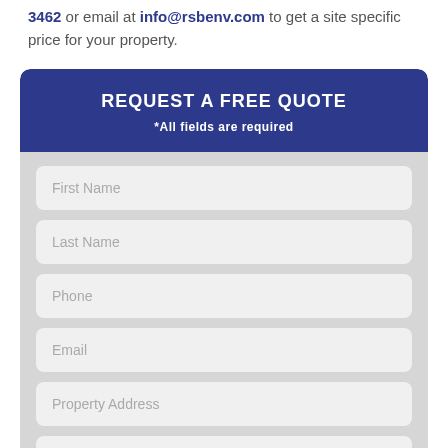3462 or email at info@rsbenv.com to get a site specific price for your property.
REQUEST A FREE QUOTE
*All fields are required
First Name
Last Name
Phone
Email
Property Address